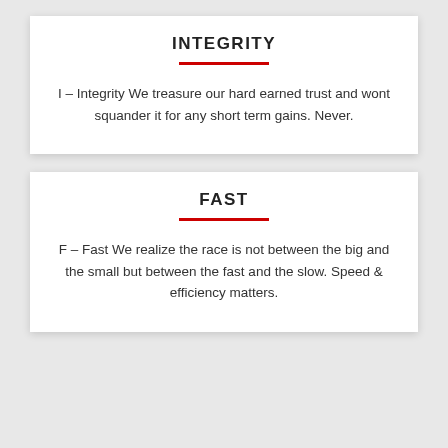INTEGRITY
I – Integrity We treasure our hard earned trust and wont squander it for any short term gains. Never.
FAST
F – Fast We realize the race is not between the big and the small but between the fast and the slow. Speed & efficiency matters.